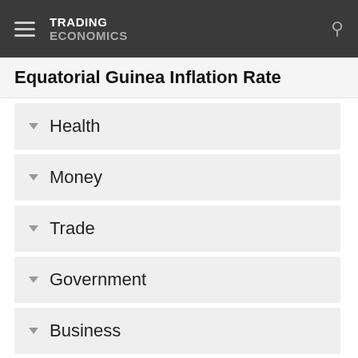TRADING ECONOMICS
Equatorial Guinea Inflation Rate
Health
Money
Trade
Government
Business
Taxes
Climate